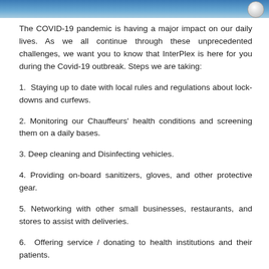[Figure (photo): Blue gradient banner with a circular object (hand sanitizer or similar) visible in the top-right corner]
The COVID-19 pandemic is having a major impact on our daily lives. As we all continue through these unprecedented challenges, we want you to know that InterPlex is here for you during the Covid-19 outbreak. Steps we are taking:
1.  Staying up to date with local rules and regulations about lockdowns and curfews.
2. Monitoring our Chauffeurs' health conditions and screening them on a daily bases.
3. Deep cleaning and Disinfecting vehicles.
4. Providing on-board sanitizers, gloves, and other protective gear.
5. Networking with other small businesses, restaurants, and stores to assist with deliveries.
6.  Offering service / donating to health institutions and their patients.